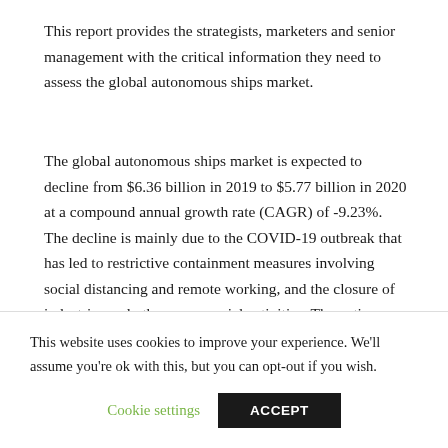This report provides the strategists, marketers and senior management with the critical information they need to assess the global autonomous ships market.
The global autonomous ships market is expected to decline from $6.36 billion in 2019 to $5.77 billion in 2020 at a compound annual growth rate (CAGR) of -9.23%. The decline is mainly due to the COVID-19 outbreak that has led to restrictive containment measures involving social distancing and remote working, and the closure of industries and other commercial activities. The entire supply chain from production to international trade has been impacted. The market is then expected to recover and reach $7.28 billion in 2023 at CAGR of 8.05%.
This website uses cookies to improve your experience. We'll assume you're ok with this, but you can opt-out if you wish.
Cookie settings | ACCEPT